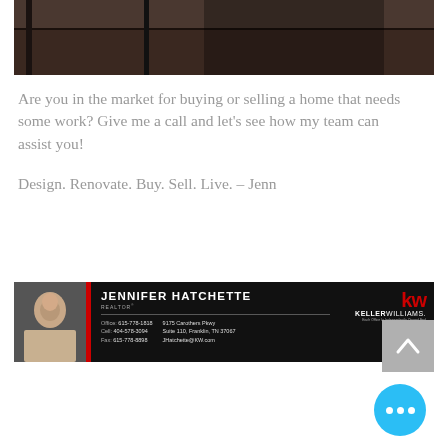[Figure (photo): Top portion of a room interior photo showing dark wood flooring and what appears to be furniture, cropped at the top of the page]
Are you in the market for buying or selling a home that needs some work? Give me a call and let's see how my team can assist you!
Design. Renovate. Buy. Sell. Live. – Jenn
[Figure (photo): Keller Williams business card for Jennifer Hatchette, Realtor. Office: 615-778-1818, Cell: 404-578-3094, Fax: 615-778-8898, 9175 Carothers Pkwy, Suite 110, Franklin, TN 37067, JHatchette@KW.com]
[Figure (other): Back to top button (gray square with upward arrow)]
[Figure (other): Blue circular chat/more options button with three white dots]